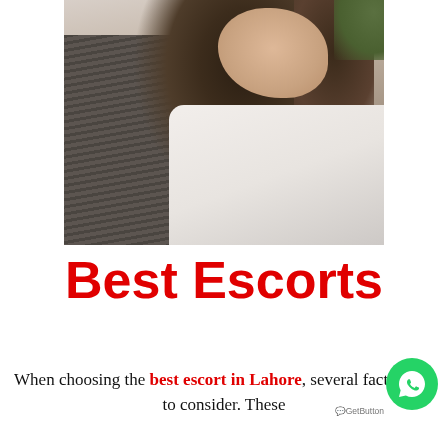[Figure (photo): Close-up photo of a young woman with long dark hair wearing a white top, leaning against a striped surface]
Best Escorts
When choosing the best escort in Lahore, several factors are to consider. These